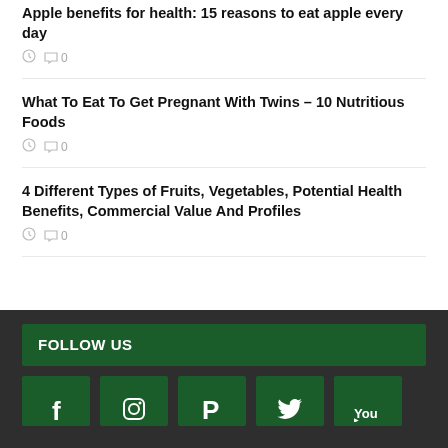Apple benefits for health: 15 reasons to eat apple every day
0 comments
What To Eat To Get Pregnant With Twins – 10 Nutritious Foods
0 comments
4 Different Types of Fruits, Vegetables, Potential Health Benefits, Commercial Value And Profiles
0 comments
FOLLOW US